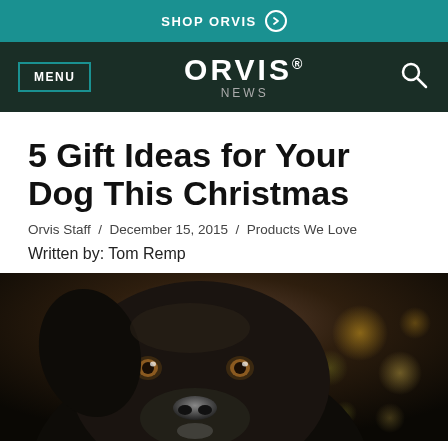SHOP ORVIS
ORVIS NEWS
5 Gift Ideas for Your Dog This Christmas
Orvis Staff / December 15, 2015 / Products We Love
Written by: Tom Remp
[Figure (photo): Close-up photo of a black Labrador dog looking upward with soft bokeh Christmas tree lights in the background]